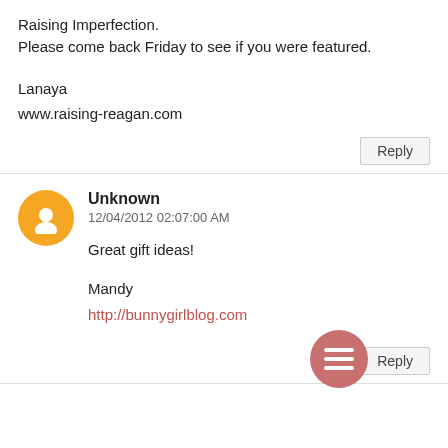Raising Imperfection.
Please come back Friday to see if you were featured.
Lanaya
www.raising-reagan.com
Reply
Unknown
12/04/2012 02:07:00 AM
Great gift ideas!
Mandy
http://bunnygirlblog.com
Reply